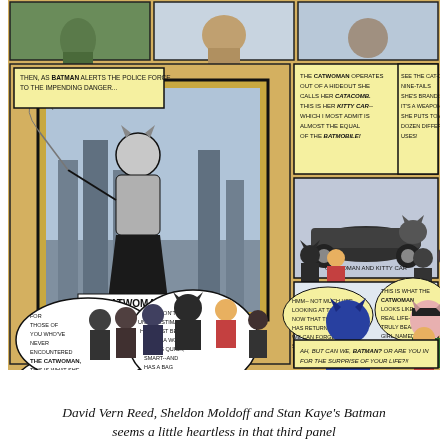[Figure (illustration): A page from a Batman comic book showing multiple panels. The panels depict Batman alerting the police force to impending danger involving Catwoman. Key panels show: Batman and Robin briefing police officers in front of a large framed painting of Catwoman in action (labeled 'CATWOMAN'); Catwoman leaping across a city skyline with a whip/rope; the Catwoman's 'Kitty Car' vehicle; Batman and Robin viewing a picture of the Catwoman and Kitty Car; and a close-up of Catwoman (Selina Kyle) with Batman and Robin. Speech bubbles include text about Catwoman operating from a hideout called 'Catacomb', her 'Kitty Car', her being quick and smart, her background as Selina Kyle who used to operate a pet shop, and ending with 'Ah, but can we, Batman? Or are you in for the surprise of your life?!']
David Vern Reed, Sheldon Moldoff and Stan Kaye's Batman seems a little heartless in that third panel